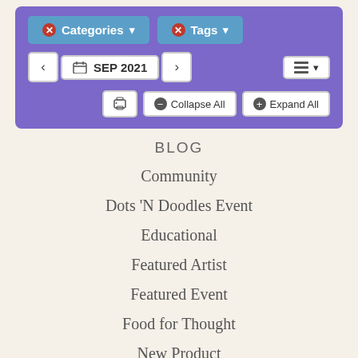[Figure (screenshot): Purple filter/navigation bar with Categories and Tags dropdown buttons, SEP 2021 date navigation, list view toggle, print button, Collapse All and Expand All buttons]
BLOG
Community
Dots 'N Doodles Event
Educational
Featured Artist
Featured Event
Food for Thought
New Product
News
Sales